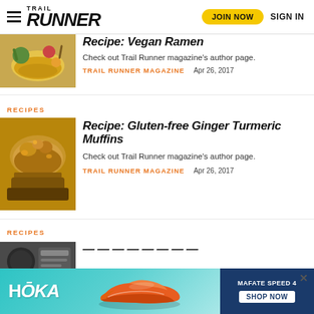Trail Runner — JOIN NOW  SIGN IN
Recipe: Vegan Ramen
Check out Trail Runner magazine's author page.
TRAIL RUNNER MAGAZINE   Apr 26, 2017
RECIPES
Recipe: Gluten-free Ginger Turmeric Muffins
Check out Trail Runner magazine's author page.
TRAIL RUNNER MAGAZINE   Apr 26, 2017
RECIPES
[Figure (photo): Advertisement banner for HOKA MAFATE SPEED 4 running shoe with shoe image and SHOP NOW button]